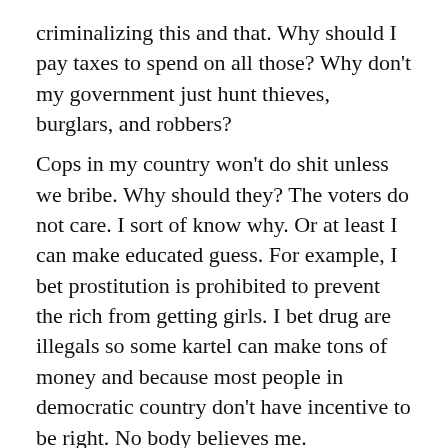criminalizing this and that. Why should I pay taxes to spend on all those? Why don't my government just hunt thieves, burglars, and robbers?
Cops in my country won't do shit unless we bribe. Why should they? The voters do not care. I sort of know why. Or at least I can make educated guess. For example, I bet prostitution is prohibited to prevent the rich from getting girls. I bet drug are illegals so some kartel can make tons of money and because most people in democratic country don't have incentive to be right. No body believes me.
So I complained. And one day in law of attraction forum, somebody told me. Stop looking at what's wrong. Start looking at